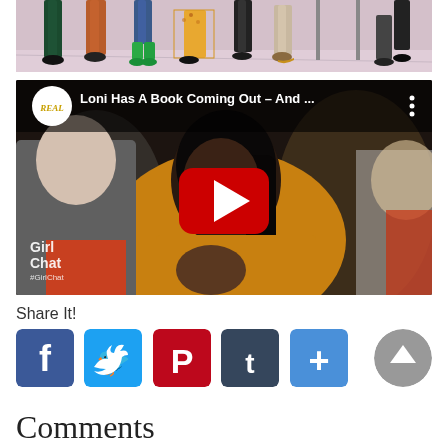[Figure (photo): Partial photo showing legs and feet of several people standing on a light pink stage/set floor, wearing colorful clothing and shoes including green metallic boots.]
[Figure (screenshot): YouTube video thumbnail showing a Black woman in a yellow cardigan clapping, with REAL daytime talk show logo and title 'Loni Has A Book Coming Out – And ...' in the video header bar. A red YouTube play button is centered on the image. 'GIRL CHAT #GirlChat' watermark in bottom left.]
Share It!
[Figure (infographic): Social sharing buttons row: Facebook (blue), Twitter (light blue), Pinterest (red), Tumblr (dark slate), Share/More (blue plus sign). A gray circular scroll-to-top arrow button on the right.]
Comments